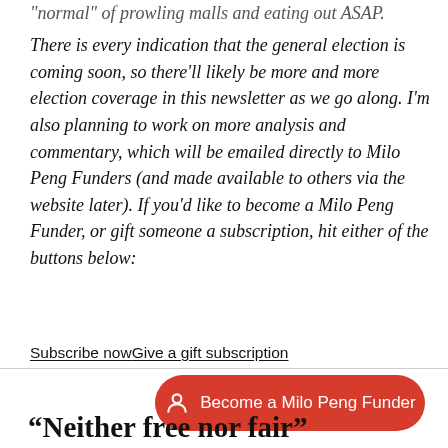"normal" of prowling malls and eating out ASAP.
There is every indication that the general election is coming soon, so there'll likely be more and more election coverage in this newsletter as we go along. I'm also planning to work on more analysis and commentary, which will be emailed directly to Milo Peng Funders (and made available to others via the website later). If you'd like to become a Milo Peng Funder, or gift someone a subscription, hit either of the buttons below:
Subscribe nowGive a gift subscription
[Figure (other): Red rounded button with person icon and text 'Become a Milo Peng Funder']
“Neither free nor fair”